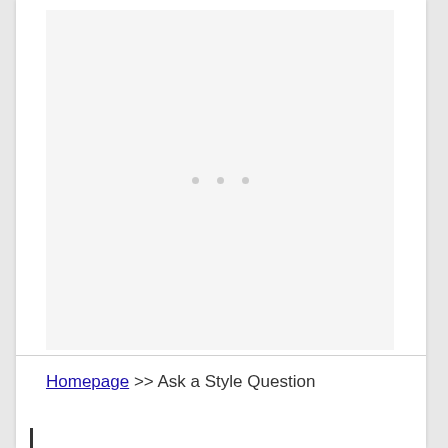[Figure (other): Advertisement placeholder area with three small grey dots indicating loading or empty ad space]
Homepage >> Ask a Style Question